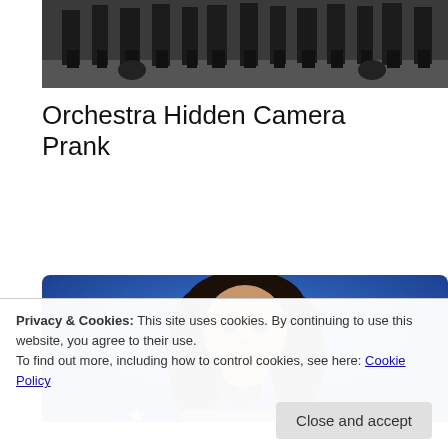[Figure (photo): Top portion of a photo showing legs/boots of people standing near motorcycles on a street, dark/grayscale tones.]
Orchestra Hidden Camera Prank
[Figure (photo): A young Asian girl singing into a microphone on stage, with a bright blue background, appears to be a talent show performance.]
Privacy & Cookies: This site uses cookies. By continuing to use this website, you agree to their use.
To find out more, including how to control cookies, see here: Cookie Policy
Close and accept
Night Only